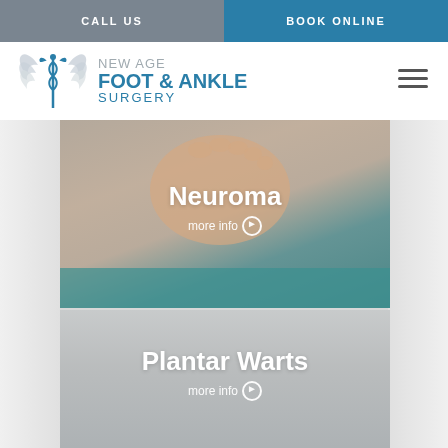CALL US
BOOK ONLINE
[Figure (logo): New Age Foot & Ankle Surgery logo with caduceus and wings icon]
[Figure (photo): Close-up photo of a bare foot being examined by a medical professional wearing gloves, with a teal/green medical drape visible]
Neuroma
more info
[Figure (photo): Second service panel showing Plantar Warts with a muted gray/neutral background]
Plantar Warts
more info